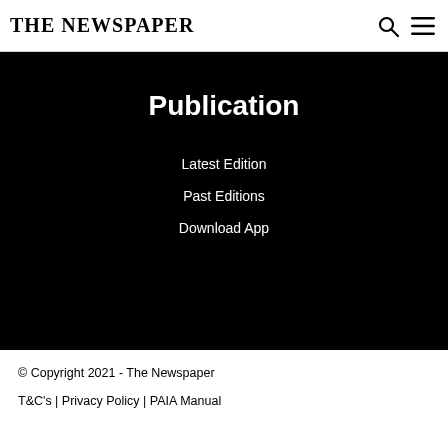THE NEWSPAPER
Publication
Latest Edition
Past Editions
Download App
© Copyright 2021 - The Newspaper
T&C's | Privacy Policy | PAIA Manual